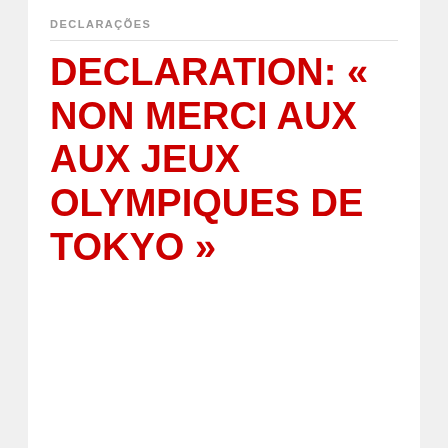DECLARAÇÕES
DECLARATION: « NON MERCI AUX AUX JEUX OLYMPIQUES DE TOKYO »